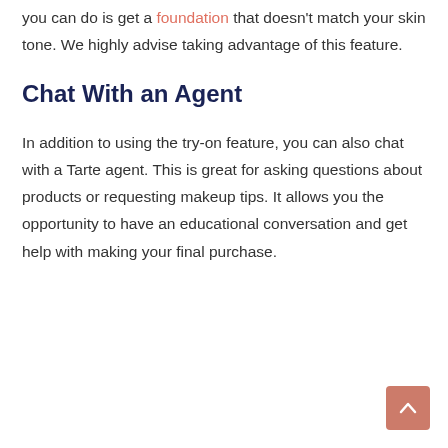you can do is get a foundation that doesn't match your skin tone. We highly advise taking advantage of this feature.
Chat With an Agent
In addition to using the try-on feature, you can also chat with a Tarte agent. This is great for asking questions about products or requesting makeup tips. It allows you the opportunity to have an educational conversation and get help with making your final purchase.